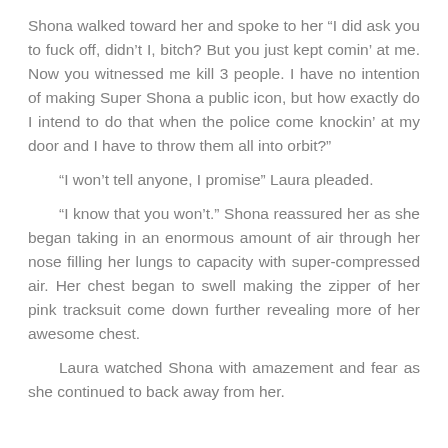Shona walked toward her and spoke to her “I did ask you to fuck off, didn’t I, bitch? But you just kept comin’ at me. Now you witnessed me kill 3 people. I have no intention of making Super Shona a public icon, but how exactly do I intend to do that when the police come knockin’ at my door and I have to throw them all into orbit?”
“I won’t tell anyone, I promise” Laura pleaded.
“I know that you won’t.” Shona reassured her as she began taking in an enormous amount of air through her nose filling her lungs to capacity with super-compressed air. Her chest began to swell making the zipper of her pink tracksuit come down further revealing more of her awesome chest.
Laura watched Shona with amazement and fear as she continued to back away from her.